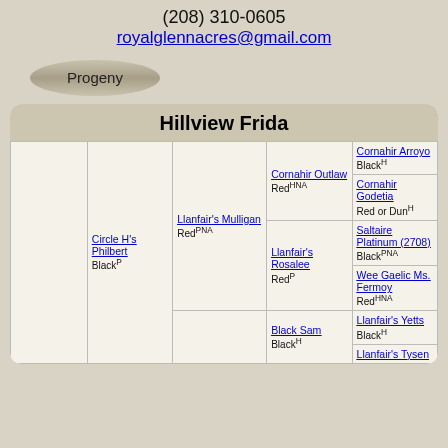(208) 310-0605
royalglennacres@gmail.com
Progeny
Hillview Frida
| Gen1 | Gen2 | Gen3 | Gen4 | Gen5 |
| --- | --- | --- | --- | --- |
|  | Circle H's Philbert Black^P | Llanfair's Mulligan Red^PNA | Cornahir Outlaw Red^HNA | Cornahir Arroyo Black^H |
|  |  |  |  | Cornahir Godetia Red or Dun^H |
|  |  |  | Llanfair's Rosalee Red^P | Saltaire Platinum (2708) Black^PNA |
|  |  |  |  | Wee Gaelic Ms. Fermoy Red^HNA |
|  |  |  | Black Sam Black^H | Llanfair's Yetts Black^H |
|  |  |  |  | Llanfair's Tysen |